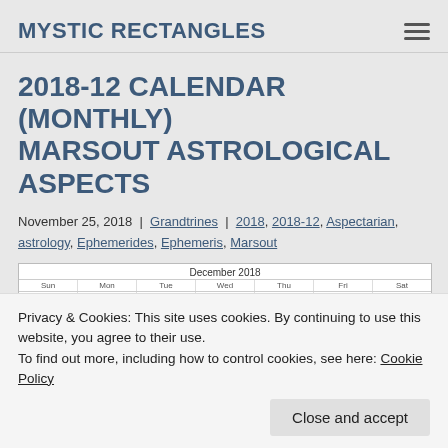MYSTIC RECTANGLES
2018-12 CALENDAR (MONTHLY) MARSOUT ASTROLOGICAL ASPECTS
November 25, 2018 | Grandtrines | 2018, 2018-12, Aspectarian, astrology, Ephemerides, Ephemeris, Marsout
[Figure (other): Partial calendar preview for December 2018 showing column headers Sun, Mon, Tue, Wed, Thu, Fri, Sat and partial rows with dates 23-29]
Privacy & Cookies: This site uses cookies. By continuing to use this website, you agree to their use.
To find out more, including how to control cookies, see here: Cookie Policy